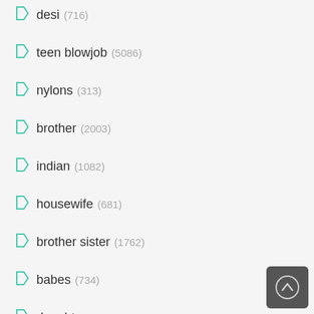desi (716)
teen blowjob (5086)
nylons (313)
brother (2003)
indian (1082)
housewife (681)
brother sister (1762)
babes (734)
daughter (1548)